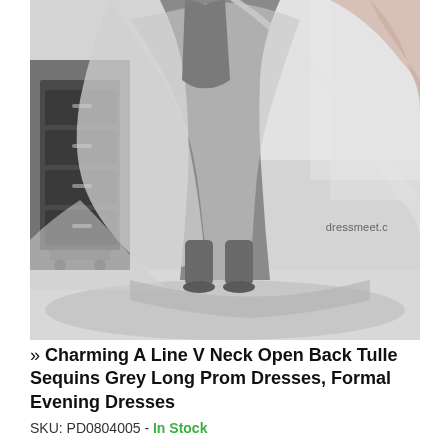[Figure (photo): Black and white photograph of a model wearing a flowing grey tulle gown with a long train, photographed from behind in what appears to be a studio or industrial setting.]
» Charming A Line V Neck Open Back Tulle Sequins Grey Long Prom Dresses, Formal Evening Dresses
SKU: PD0804005 - In Stock